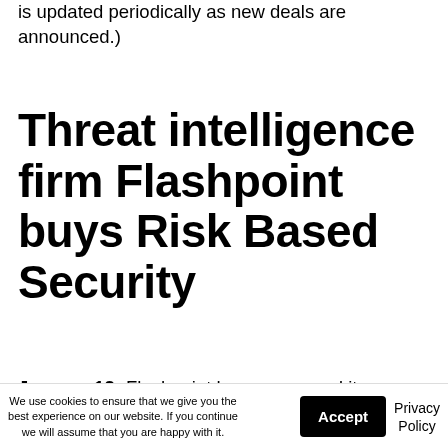is updated periodically as new deals are announced.)
Threat intelligence firm Flashpoint buys Risk Based Security
January 12: Flashpoint has announced its acquisition of Risk Based Security (RBS).
We use cookies to ensure that we give you the best experience on our website. If you continue we will assume that you are happy with it.